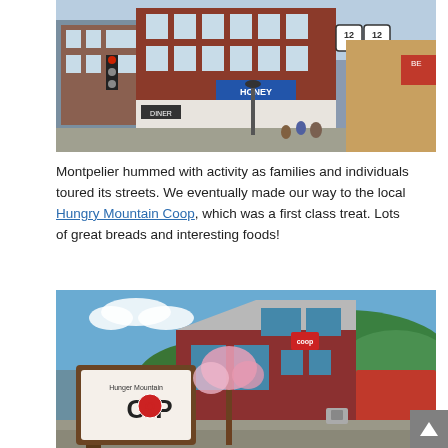[Figure (photo): Street-level photo of downtown Montpelier, Vermont showing a red brick multi-story building, storefronts including a diner and a blue-awning shop, traffic lights, and pedestrians on a sunny day.]
Montpelier hummed with activity as families and individuals toured its streets. We eventually made our way to the local Hungry Mountain Coop, which was a first class treat. Lots of great breads and interesting foods!
[Figure (photo): Exterior photo of the Hunger Mountain Coop building: a modern red-sided structure with large windows, a prominent brown sign reading 'Hunger Mountain COOP' with a red apple logo, blooming cherry trees in front, and green forested hills in the background under a blue sky.]